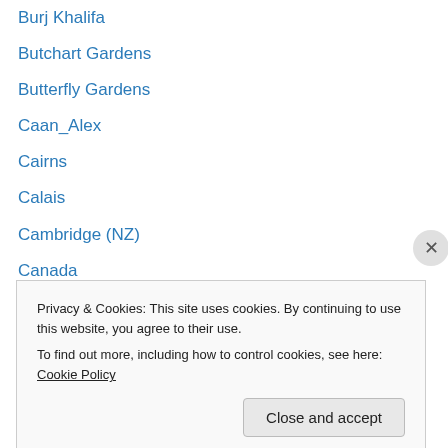Burj Khalifa
Butchart Gardens
Butterfly Gardens
Caan_Alex
Cairns
Calais
Cambridge (NZ)
Canada
Caro-Jane
Carol_J_S
Cascade Gardens
CBBH Photo Challeng
Cee's Black & White Challenge
Privacy & Cookies: This site uses cookies. By continuing to use this website, you agree to their use.
To find out more, including how to control cookies, see here: Cookie Policy
Close and accept